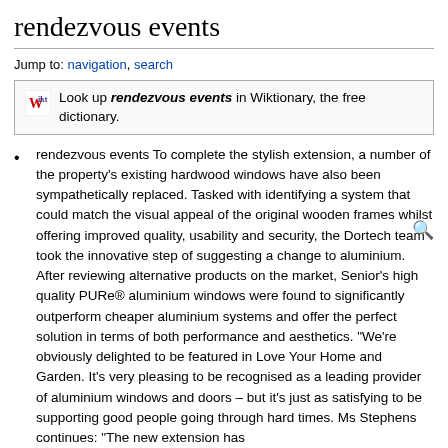rendezvous events
Jump to: navigation, search
Look up rendezvous events in Wiktionary, the free dictionary.
rendezvous events To complete the stylish extension, a number of the property's existing hardwood windows have also been sympathetically replaced. Tasked with identifying a system that could match the visual appeal of the original wooden frames whilst offering improved quality, usability and security, the Dortech team took the innovative step of suggesting a change to aluminium. After reviewing alternative products on the market, Senior's high quality PURe® aluminium windows were found to significantly outperform cheaper aluminium systems and offer the perfect solution in terms of both performance and aesthetics. “We’re obviously delighted to be featured in Love Your Home and Garden. It's very pleasing to be recognised as a leading provider of aluminium windows and doors – but it’s just as satisfying to be supporting good people going through hard times. Ms Stephens continues: “The new extension has